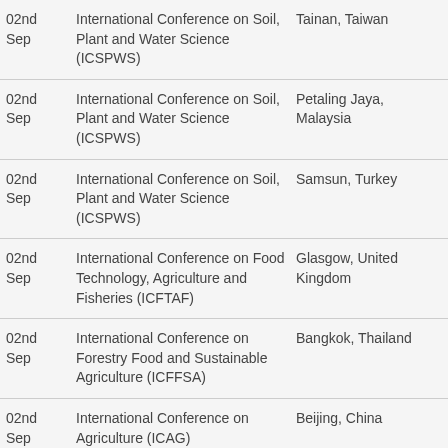| Date | Conference | Location |
| --- | --- | --- |
| 02nd Sep | International Conference on Soil, Plant and Water Science (ICSPWS) | Tainan, Taiwan |
| 02nd Sep | International Conference on Soil, Plant and Water Science (ICSPWS) | Petaling Jaya, Malaysia |
| 02nd Sep | International Conference on Soil, Plant and Water Science (ICSPWS) | Samsun, Turkey |
| 02nd Sep | International Conference on Food Technology, Agriculture and Fisheries (ICFTAF) | Glasgow, United Kingdom |
| 02nd Sep | International Conference on Forestry Food and Sustainable Agriculture (ICFFSA) | Bangkok, Thailand |
| 02nd Sep | International Conference on Agriculture (ICAG) | Beijing, China |